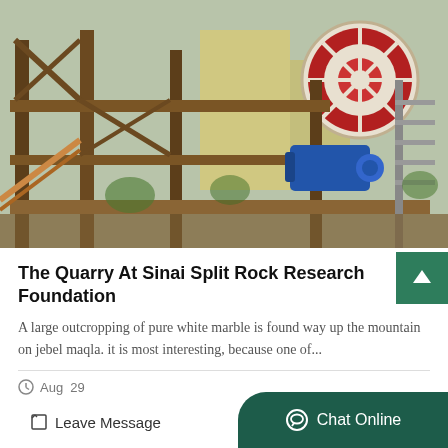[Figure (photo): Industrial quarry machinery with steel scaffolding, heavy equipment including a large red and white flywheel, a blue electric motor, and yellow industrial structures in the background. Outdoor setting with trees visible.]
The Quarry At Sinai Split Rock Research Foundation
A large outcropping of pure white marble is found way up the mountain on jebel maqla. it is most interesting, because one of...
Aug  29
Leave Message
Chat Online